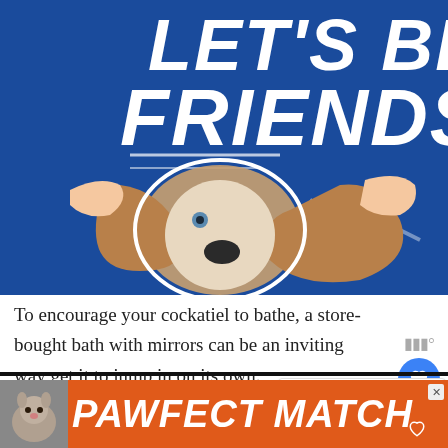[Figure (illustration): Promotional banner image with dark blue background showing text 'LET'S BE FRIENDS' in large white bold italic font, with a basset hound dog whose ears are being stretched out by two hands]
To encourage your cockatiel to bathe, a store-bought bath with mirrors can be an inviting way get it to jump in on its own.
Step 2: Bathing your cockatiel
[Figure (illustration): Advertisement banner with orange/red background showing a cat photo on the left and text 'PAWFECT MATCH' in large white bold italic font]